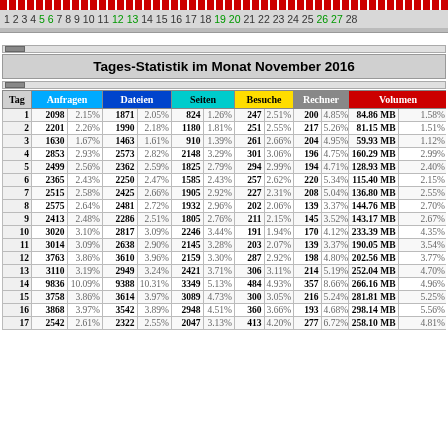1 2 3 4 5 6 7 8 9 10 11 12 13 14 15 16 17 18 19 20 21 22 23 24 25 26 27 28
Tages-Statistik im Monat November 2016
| Tag | Anfragen |  | Dateien |  | Seiten |  | Besuche |  | Rechner |  | Volumen |  |  |
| --- | --- | --- | --- | --- | --- | --- | --- | --- | --- | --- | --- | --- | --- |
| 1 | 2098 | 2.15% | 1871 | 2.05% | 824 | 1.26% | 247 | 2.51% | 200 | 4.85% | 84.86 MB | 1.58% | 0 |
| 2 | 2201 | 2.26% | 1990 | 2.18% | 1180 | 1.81% | 251 | 2.55% | 217 | 5.26% | 81.15 MB | 1.51% | 0 |
| 3 | 1630 | 1.67% | 1463 | 1.61% | 910 | 1.39% | 261 | 2.66% | 204 | 4.95% | 59.93 MB | 1.12% | 0 |
| 4 | 2853 | 2.93% | 2573 | 2.82% | 2148 | 3.29% | 301 | 3.06% | 196 | 4.75% | 160.29 MB | 2.99% | 0 |
| 5 | 2499 | 2.56% | 2362 | 2.59% | 1825 | 2.79% | 294 | 2.99% | 194 | 4.71% | 128.93 MB | 2.40% | 0 |
| 6 | 2365 | 2.43% | 2250 | 2.47% | 1585 | 2.43% | 257 | 2.62% | 220 | 5.34% | 115.40 MB | 2.15% | 0 |
| 7 | 2515 | 2.58% | 2425 | 2.66% | 1905 | 2.92% | 227 | 2.31% | 208 | 5.04% | 136.80 MB | 2.55% | 0 |
| 8 | 2575 | 2.64% | 2481 | 2.72% | 1932 | 2.96% | 202 | 2.06% | 139 | 3.37% | 144.76 MB | 2.70% | 0 |
| 9 | 2413 | 2.48% | 2286 | 2.51% | 1805 | 2.76% | 211 | 2.15% | 145 | 3.52% | 143.17 MB | 2.67% | 0 |
| 10 | 3020 | 3.10% | 2817 | 3.09% | 2246 | 3.44% | 191 | 1.94% | 170 | 4.12% | 233.39 MB | 4.35% | 0 |
| 11 | 3014 | 3.09% | 2638 | 2.90% | 2145 | 3.28% | 203 | 2.07% | 139 | 3.37% | 190.05 MB | 3.54% | 0 |
| 12 | 3763 | 3.86% | 3610 | 3.96% | 2159 | 3.30% | 287 | 2.92% | 198 | 4.80% | 202.56 MB | 3.77% | 0 |
| 13 | 3110 | 3.19% | 2949 | 3.24% | 2421 | 3.71% | 306 | 3.11% | 214 | 5.19% | 252.04 MB | 4.70% | 0 |
| 14 | 9836 | 10.09% | 9388 | 10.31% | 3349 | 5.13% | 484 | 4.93% | 357 | 8.66% | 266.16 MB | 4.96% | 0 |
| 15 | 3758 | 3.86% | 3614 | 3.97% | 3089 | 4.73% | 300 | 3.05% | 216 | 5.24% | 281.81 MB | 5.25% | 0 |
| 16 | 3868 | 3.97% | 3542 | 3.89% | 2948 | 4.51% | 360 | 3.66% | 193 | 4.68% | 298.14 MB | 5.56% | 0 |
| 17 | 2542 | 2.61% | 2322 | 2.55% | 2047 | 3.13% | 413 | 4.20% | 277 | 6.72% | 258.10 MB | 4.81% | 0 |